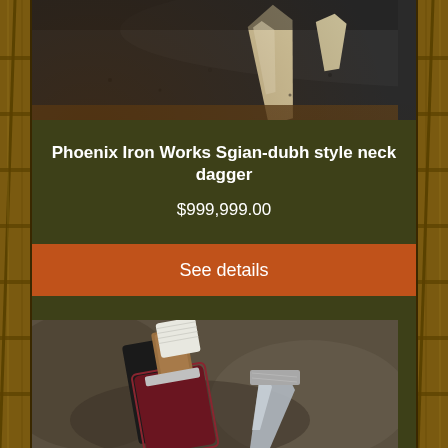[Figure (photo): Close-up photo of a Sgian-dubh style neck dagger blade tip against a dark background]
Phoenix Iron Works Sgian-dubh style neck dagger
$999,999.00
See details
[Figure (photo): Photo of a knife/dagger with white cloth wrapping, wooden handle, leather sheath, and metal blade against rocky background]